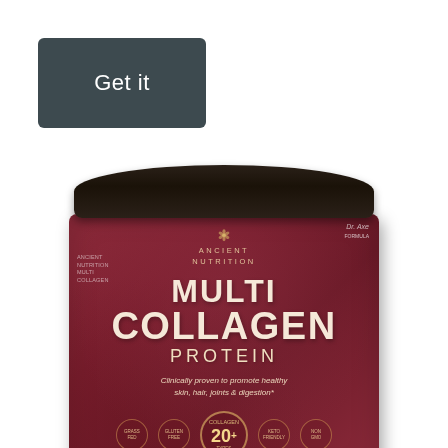[Figure (other): Dark grey rounded rectangle button with white text reading 'Get it']
[Figure (photo): Ancient Nutrition Multi Collagen Protein supplement container. Dark maroon/burgundy jar with black lid. Label reads: ANCIENT NUTRITION, MULTI COLLAGEN PROTEIN, 'Clinically proven to promote healthy skin, hair, joints & digestion', with certification icons at bottom including a central badge showing '20+'. Dr. Axe branding visible.]